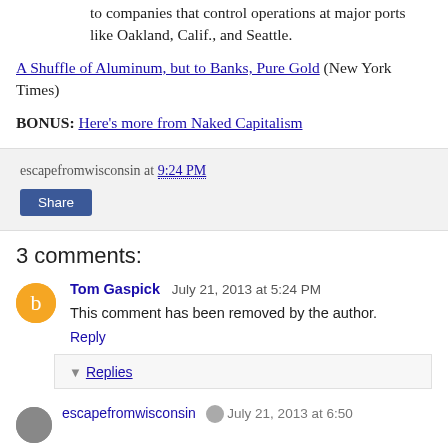to companies that control operations at major ports like Oakland, Calif., and Seattle.
A Shuffle of Aluminum, but to Banks, Pure Gold (New York Times)
BONUS: Here's more from Naked Capitalism
escapefromwisconsin at 9:24 PM
Share
3 comments:
Tom Gaspick July 21, 2013 at 5:24 PM
This comment has been removed by the author.
Reply
Replies
escapefromwisconsin July 21, 2013 at 6:50